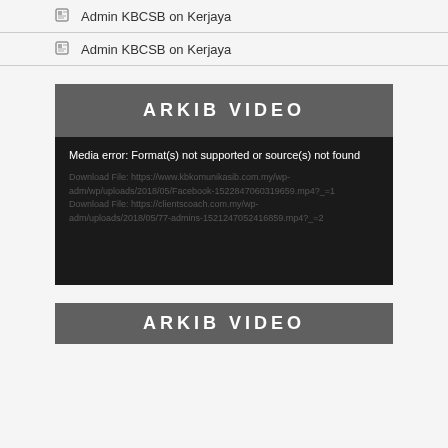Admin KBCSB on Kerjaya
Admin KBCSB on Kerjaya
[Figure (screenshot): ARKIB VIDEO section with dark header and black video player showing media error: Format(s) not supported or source(s) not found, with download file URLs shown in grey]
[Figure (screenshot): Second ARKIB VIDEO section header partially visible at bottom]